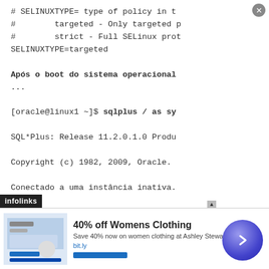# SELINUXTYPE= type of policy in t
#        targeted - Only targeted p
#        strict - Full SELinux prot
SELINUXTYPE=targeted
Após o boot do sistema operacional
...
[oracle@linux1 ~]$ sqlplus / as sy
SQL*Plus: Release 11.2.0.1.0 Produ
Copyright (c) 1982, 2009, Oracle.
Conectado a uma instância inativa.
SQL> startup
Instância ORACLE iniciada.
Total System Global Area  35152281
Fixed Size                    133648
Variable Size              163580760